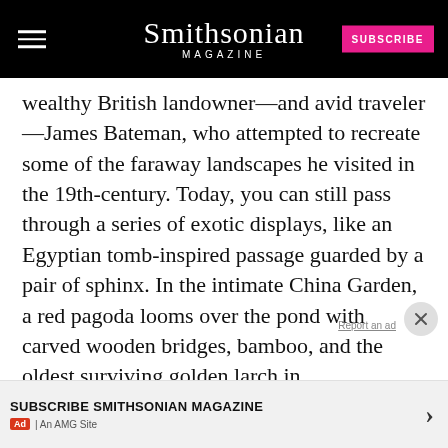Smithsonian MAGAZINE | SUBSCRIBE
wealthy British landowner—and avid traveler—James Bateman, who attempted to recreate some of the faraway landscapes he visited in the 19th-century. Today, you can still pass through a series of exotic displays, like an Egyptian tomb-inspired passage guarded by a pair of sphinx. In the intimate China Garden, a red pagoda looms over the pond with carved wooden bridges, bamboo, and the oldest surviving golden larch in Britain (a type of conifer tree, brought from China in the 1850s).
SUBSCRIBE SMITHSONIAN MAGAZINE
Ad | An AMG Site